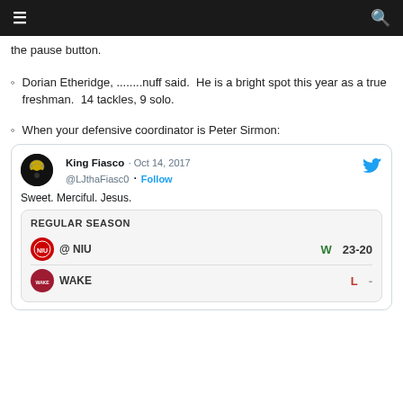≡   [search icon]
the pause button.
Dorian Etheridge, ........nuff said. He is a bright spot this year as a true freshman. 14 tackles, 9 solo.
When your defensive coordinator is Peter Sirmon:
[Figure (screenshot): Tweet from King Fiasco (@LJthaFiasc0) dated Oct 14, 2017, saying 'Sweet. Merciful. Jesus.' with an embedded Regular Season schedule card showing @ NIU W 23-20 and a partial row for Wake.]